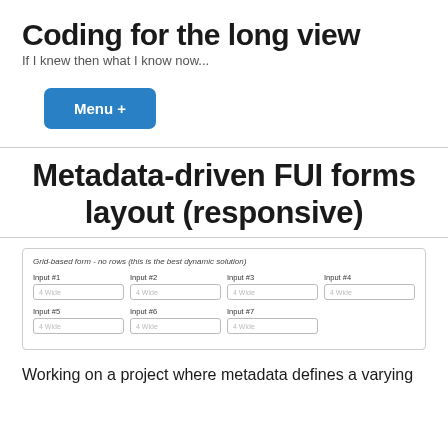Coding for the long view
If I knew then what I know now...
Menu +
Metadata-driven FUI forms layout (responsive)
[Figure (screenshot): Screenshot of a grid-based form with no rows. Shows 'Grid-based form - no rows (this is the best dynamic solution)' as header. Two rows of inputs: Row 1: Input #1, Input #2, Input #3, Input #4 (all labeled '4 Wide'). Row 2: Input #5, Input #6, Input #7 (all labeled '4 Wide').]
Working on a project where metadata defines a varying